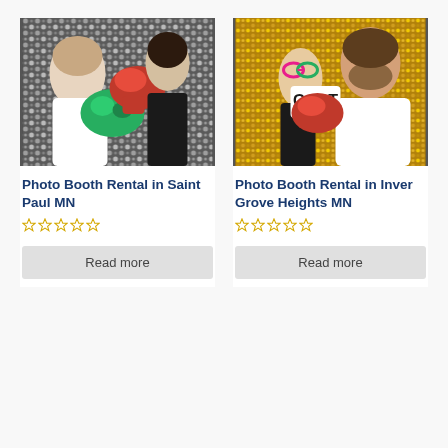[Figure (photo): Photo booth image showing two people posing with boxing gloves props (red and green Hulk fist) against a silver sequin backdrop]
Photo Booth Rental in Saint Paul MN
☆☆☆☆☆
Read more
[Figure (photo): Photo booth image showing a man and woman posing with boxing glove prop and a sign reading 'GOAT', wearing fun glasses, against a gold sequin backdrop]
Photo Booth Rental in Inver Grove Heights MN
☆☆☆☆☆
Read more